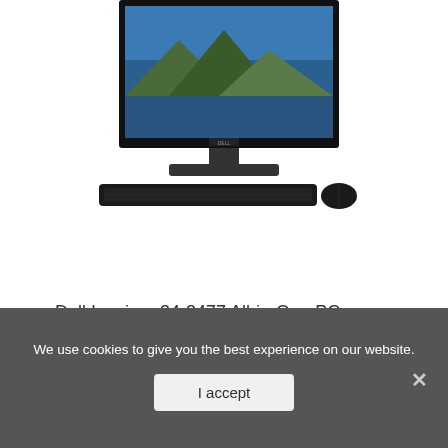[Figure (photo): Dell Inspiron 24-3477 All-in-One PC product photo showing monitor with nature wallpaper, keyboard, and mouse on white background]
Dell Inspiron 24-3477 All-in-One PC, 23.8in Screen, 7th Gen Intel Core i7, 12GB Memory, 1TB Hard ...
[Figure (photo): Laptop product photo partially visible at bottom of page, white/silver laptop with Windows 10 screen showing blue desktop]
We use cookies to give you the best experience on our website.
I accept